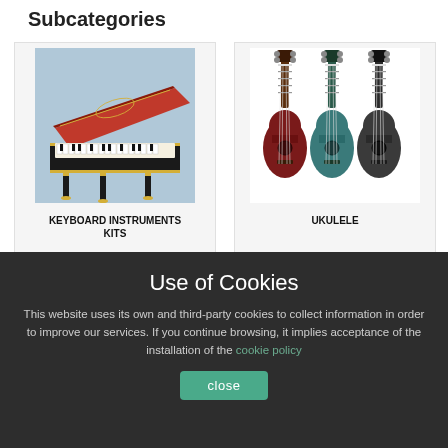Subcategories
[Figure (photo): Harpsichord keyboard instrument with red and gold decorated lid, black lacquered case with ornamental legs]
KEYBOARD INSTRUMENTS KITS
[Figure (photo): Three ukuleles in red, blue/teal, and black colors side by side]
UKULELE
Use of Cookies
This website uses its own and third-party cookies to collect information in order to improve our services. If you continue browsing, it implies acceptance of the installation of the cookie policy
close